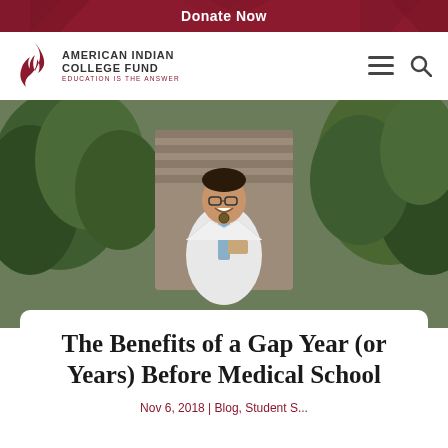Donate Now
[Figure (logo): American Indian College Fund logo with flame icon and tagline 'Education is the Answer']
[Figure (photo): Young man smiling in a white medical coat standing in front of evergreen trees and a stone wall]
The Benefits of a Gap Year (or Years) Before Medical School
Nov 6, 2018 | Blog, Student S...